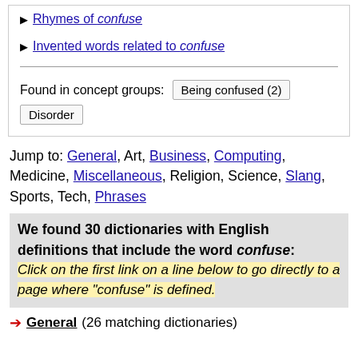▶ Rhymes of confuse
▶ Invented words related to confuse
Found in concept groups: Being confused (2) Disorder
Jump to: General, Art, Business, Computing, Medicine, Miscellaneous, Religion, Science, Slang, Sports, Tech, Phrases
We found 30 dictionaries with English definitions that include the word confuse: Click on the first link on a line below to go directly to a page where "confuse" is defined.
➔ General (26 matching dictionaries)